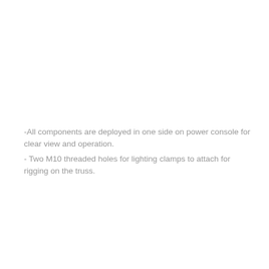-All components are deployed in one side on power console for clear view and operation.
- Two M10 threaded holes for lighting clamps to attach for rigging on the truss.